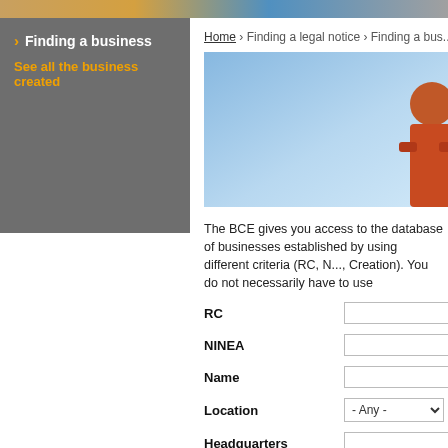[Figure (photo): Top decorative image strip with warm tones]
Finding a business
See all the business created
Home › Finding a legal notice › Finding a bus...
[Figure (photo): Hero image with blue sky background and person in orange/red clothing on right side]
The BCE gives you access to the database of businesses established by using different criteria (RC, N..., Creation). You do not necessarily have to use
RC
NINEA
Name
Location
Headquarters
Legal form
Main activity
Year of creation